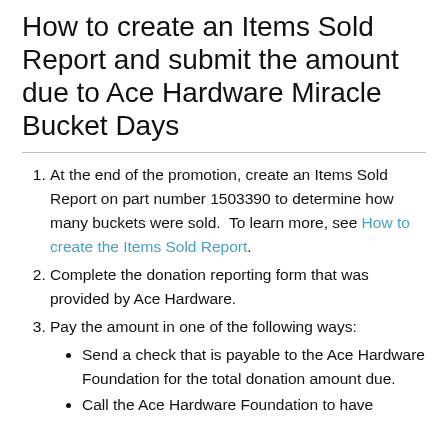How to create an Items Sold Report and submit the amount due to Ace Hardware Miracle Bucket Days
At the end of the promotion, create an Items Sold Report on part number 1503390 to determine how many buckets were sold. To learn more, see How to create the Items Sold Report.
Complete the donation reporting form that was provided by Ace Hardware.
Pay the amount in one of the following ways:
Send a check that is payable to the Ace Hardware Foundation for the total donation amount due.
Call the Ace Hardware Foundation to have